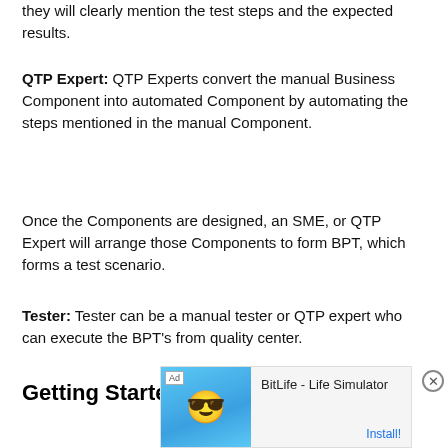they will clearly mention the test steps and the expected results.
QTP Expert: QTP Experts convert the manual Business Component into automated Component by automating the steps mentioned in the manual Component.
Once the Components are designed, an SME, or QTP Expert will arrange those Components to form BPT, which forms a test scenario.
Tester: Tester can be a manual tester or QTP expert who can execute the BPT's from quality center.
Getting Started with BPT
[Figure (other): Advertisement banner for BitLife - Life Simulator app with cartoon character, Ad label, and Install button]